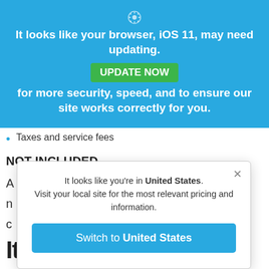[Figure (screenshot): Browser update notification banner with blue background, gear icon at top, bold white text reading 'It looks like your browser, iOS 11, may need updating.' with a green UPDATE NOW button and text 'for more security, speed, and to ensure our site works correctly for you.']
Taxes and service fees
NOT INCLUDED
A
n
c
[Figure (screenshot): Modal dialog with close X button. Text: 'It looks like you're in United States. Visit your local site for the most relevant pricing and information.' with a blue 'Switch to United States' button.]
Itinerary